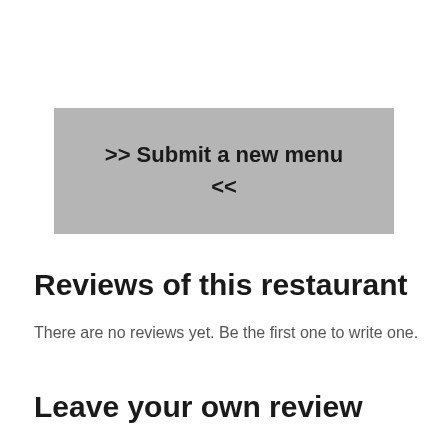[Figure (other): Grey button/box with text '>> Submit a new menu' and '<<']
Reviews of this restaurant
There are no reviews yet. Be the first one to write one.
Leave your own review